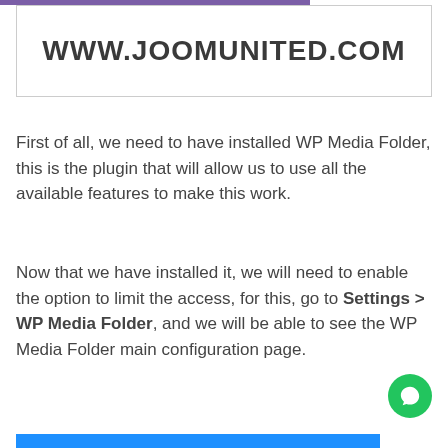[Figure (logo): JoomUnited website logo showing www.joomunited.com in bold dark text inside a bordered rectangle with a purple top bar]
First of all, we need to have installed WP Media Folder, this is the plugin that will allow us to use all the available features to make this work.
Now that we have installed it, we will need to enable the option to limit the access, for this, go to Settings > WP Media Folder, and we will be able to see the WP Media Folder main configuration page.